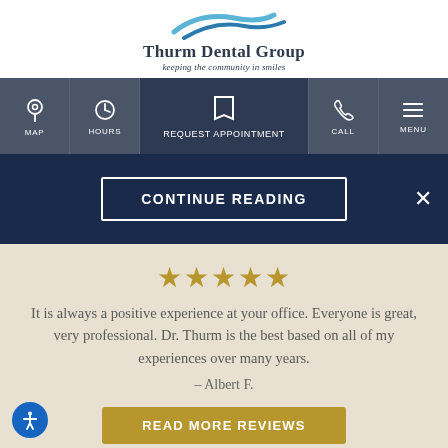[Figure (logo): Thurm Dental Group logo with blue swoosh graphic above text 'Thurm Dental Group' and tagline 'keeping the community in smiles']
[Figure (screenshot): Mobile navigation bar with icons: MAP, HOURS, REQUEST APPOINTMENT (center, highlighted), CALL, MENU]
CONTINUE READING
[Figure (infographic): Five gold stars rating]
It is always a positive experience at your office. Everyone is great, very professional. Dr. Thurm is the best based on all of my experiences over many years.
– Albert F.
READ MORE REVIEWS